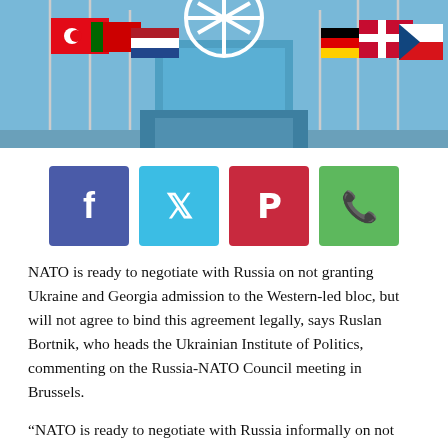[Figure (photo): Photograph of NATO headquarters with flags of member nations flying in front of the building under a blue sky, with the NATO compass-rose logo visible.]
[Figure (infographic): Social media sharing buttons: Facebook (blue), Twitter (cyan), Pinterest (red), WhatsApp (green)]
NATO is ready to negotiate with Russia on not granting Ukraine and Georgia admission to the Western-led bloc, but will not agree to bind this agreement legally, says Ruslan Bortnik, who heads the Ukrainian Institute of Politics, commenting on the Russia-NATO Council meeting in Brussels.
“NATO is ready to negotiate with Russia informally on not admitting Ukraine and Georgia into its ranks, but NATO is not ready to formally, and legally cement these agreements, because it will be viewed as yet another retreat from